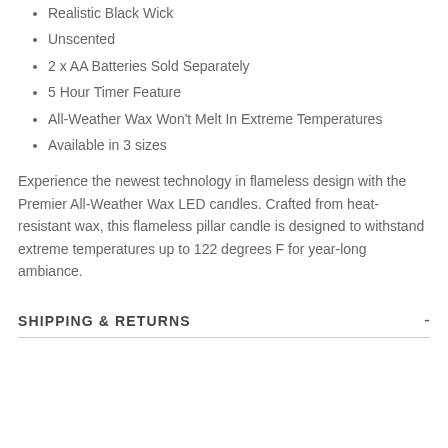Realistic Black Wick
Unscented
2 x AA Batteries Sold Separately
5 Hour Timer Feature
All-Weather Wax Won't Melt In Extreme Temperatures
Available in 3 sizes
Experience the newest technology in flameless design with the Premier All-Weather Wax LED candles. Crafted from heat-resistant wax, this flameless pillar candle is designed to withstand extreme temperatures up to 122 degrees F for year-long ambiance.
SHIPPING & RETURNS